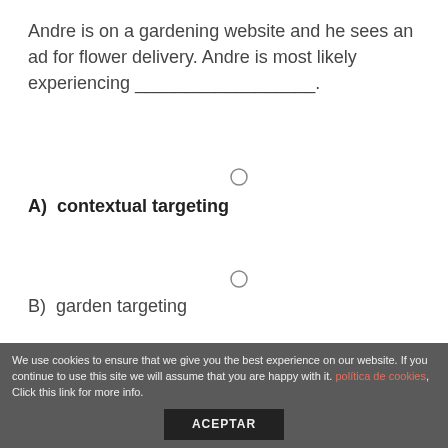Andre is on a gardening website and he sees an ad for flower delivery. Andre is most likely experiencing ___________________.
A) contextual targeting
B) garden targeting
C) placement targeting
D) interest-based advertising
We use cookies to ensure that we give you the best experience on our website. If you continue to use this site we will assume that you are happy with it. política de cookies, Click this link for more info. ACEPTAR